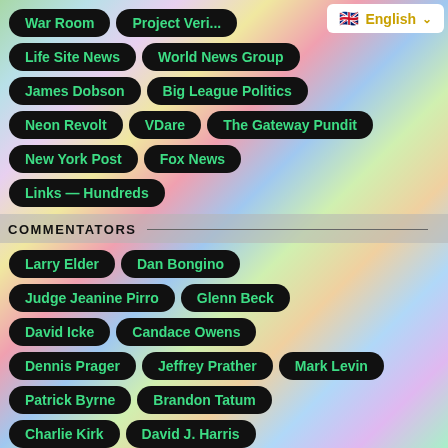War Room
Project Veritas
Life Site News
World News Group
James Dobson
Big League Politics
Neon Revolt
VDare
The Gateway Pundit
New York Post
Fox News
Links — Hundreds
COMMENTATORS
Larry Elder
Dan Bongino
Judge Jeanine Pirro
Glenn Beck
David Icke
Candace Owens
Dennis Prager
Jeffrey Prather
Mark Levin
Patrick Byrne
Brandon Tatum
Charlie Kirk
David J. Harris